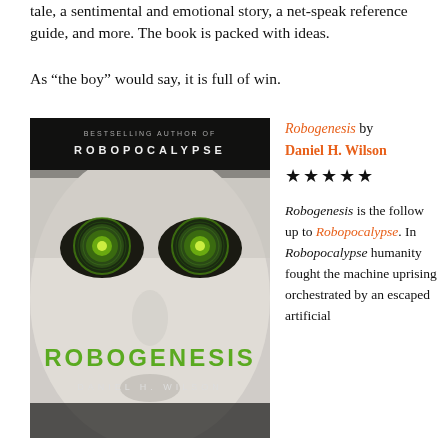tale, a sentimental and emotional story, a net-speak reference guide, and more. The book is packed with ideas.
As “the boy” would say, it is full of win.
[Figure (photo): Book cover of Robogenesis by Daniel H. Wilson — close-up of a pale robotic face with glowing green mechanical eyes, green text reading ROBOGENESIS and DANIEL H. WILSON, with text at top: BESTSELLING AUTHOR OF ROBOPOCALYPSE]
Robogenesis by Daniel H. Wilson ★★★★★
Robogenesis is the follow up to Robopocalypse. In Robopocalypse humanity fought the machine uprising orchestrated by an escaped artificial